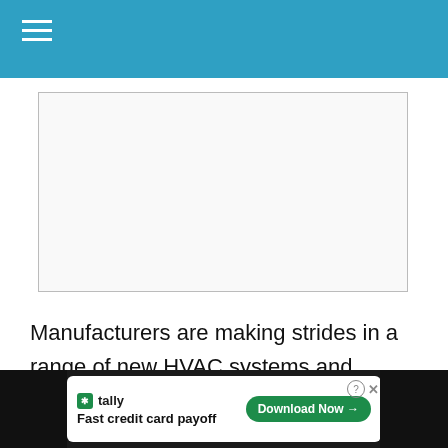[Figure (photo): Blank/white image placeholder with border]
Manufacturers are making strides in a range of new HVAC systems and components, and changes in maintenance procedures can improve the operating efficiency of nearly any HVAC system. But the best opportunities for enhanced efficiency and greater savings involve boilers and chillers.
[Figure (other): Advertisement banner: Tally app - Fast credit card payoff with Download Now button]